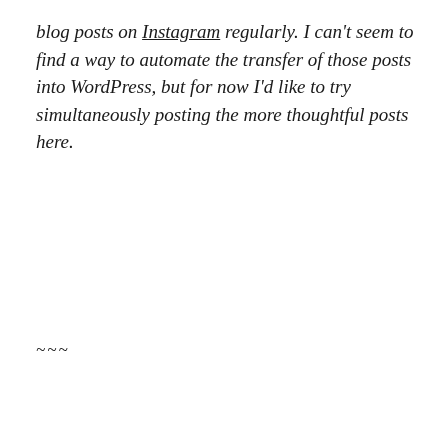blog posts on Instagram regularly. I can't seem to find a way to automate the transfer of those posts into WordPress, but for now I'd like to try simultaneously posting the more thoughtful posts here.
~~~